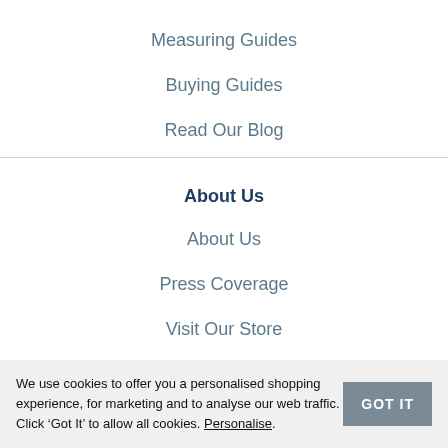Measuring Guides
Buying Guides
Read Our Blog
About Us
About Us
Press Coverage
Visit Our Store
Designer Insights
Terms
We use cookies to offer you a personalised shopping experience, for marketing and to analyse our web traffic. Click ‘Got It’ to allow all cookies. Personalise.